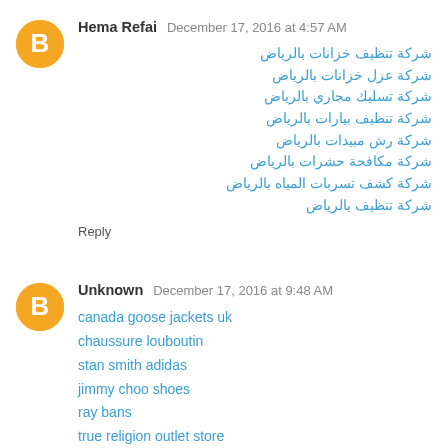Hema Refai  December 17, 2016 at 4:57 AM
شركة تنظيف خزانات بالرياض
شركة عزل خزانات بالرياض
شركة تسليك مجاري بالرياض
شركة تنظيف بيارات بالرياض
شركة رش مبيدات بالرياض
شركة مكافحة حشرات بالرياض
شركة كشف تسربات المياه بالرياض
شركة تنظيف بالرياض
Reply
Unknown  December 17, 2016 at 9:48 AM
canada goose jackets uk
chaussure louboutin
stan smith adidas
jimmy choo shoes
ray bans
true religion outlet store
Replica Rolex
nike cortez classic
michael kors outlet store
polo ralph lauren outlet
zhi20161216